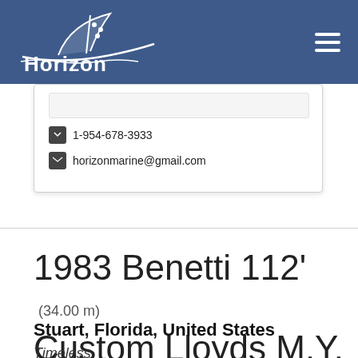[Figure (logo): Horizon Marine Center logo — white boat/wave graphic with text 'Horizon MARINE CENTER' on blue background]
1-954-678-3933
horizonmarine@gmail.com
1983 Benetti 112' (34.00 m) Custom Lloyds M.Y.
Stuart, Florida, United States
Timeless